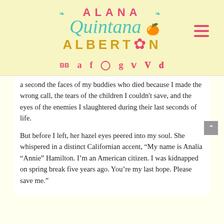[Figure (logo): Alana Quintana Albertson author logo/website header with decorative script text, flower ornaments, and teal/pink/gold color scheme]
[Figure (infographic): Social media icons row: BB (BookBub), Amazon, Facebook, Instagram, Goodreads, Twitter, Pinterest, TikTok — all in pink]
a second the faces of my buddies who died because I made the wrong call, the tears of the children I couldn't save, and the eyes of the enemies I slaughtered during their last seconds of life.

But before I left, her hazel eyes peered into my soul. She whispered in a distinct Californian accent, “My name is Analía “Annie” Hamilton. I’m an American citizen. I was kidnapped on spring break five years ago. You’re my last hope. Please save me.”